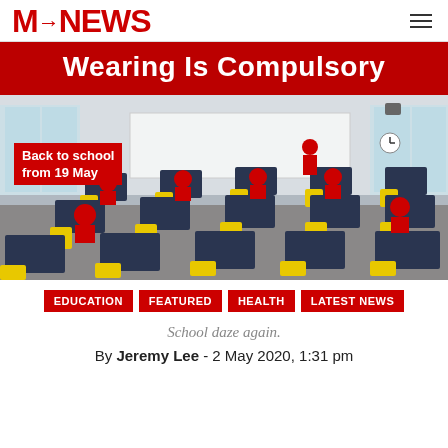MustShareNews
Wearing Is Compulsory
[Figure (photo): Classroom with students wearing red uniforms seated at yellow chairs and dark desks, spaced apart. Overlay text: Back to school from 19 May]
Back to school from 19 May
EDUCATION   FEATURED   HEALTH   LATEST NEWS
School daze again.
By Jeremy Lee - 2 May 2020, 1:31 pm